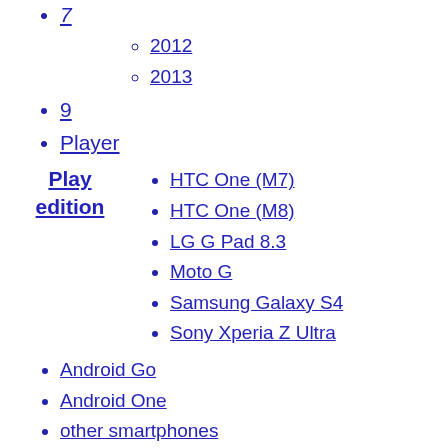7
2012
2013
9
Player
HTC One (M7)
HTC One (M8)
LG G Pad 8.3
Moto G
Samsung Galaxy S4
Sony Xperia Z Ultra
Android Go
Android One
other smartphones
AliOS
Android-x86
Remix OS
AOKP
Baidu Yi
Barnes & Noble Nook
CalyxOS
ColorOS
realme UI